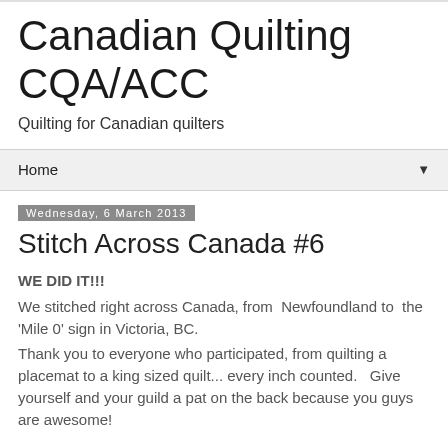Canadian Quilting CQA/ACC
Quilting for Canadian quilters
Home
Wednesday, 6 March 2013
Stitch Across Canada #6
WE DID IT!!!
We stitched right across Canada, from Newfoundland to the 'Mile 0' sign in Victoria, BC.
Thank you to everyone who participated, from quilting a placemat to a king sized quilt... every inch counted.   Give yourself and your guild a pat on the back because you guys are awesome!